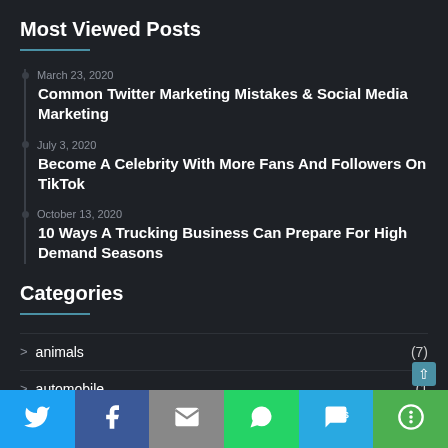Most Viewed Posts
March 23, 2020 — Common Twitter Marketing Mistakes & Social Media Marketing
July 3, 2020 — Become A Celebrity With More Fans And Followers On TikTok
October 13, 2020 — 10 Ways A Trucking Business Can Prepare For High Demand Seasons
Categories
animals (7)
automobile (1…)